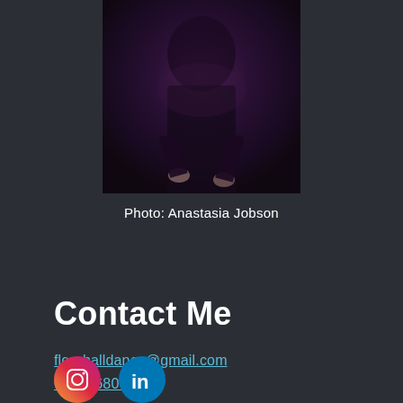[Figure (photo): Partial photo of a person in dark clothing against a dark background, cropped at top of page]
Photo: Anastasia Jobson
Contact Me
fleurhalldance@gmail.com
07802680695
[Figure (logo): Instagram and LinkedIn social media icons]